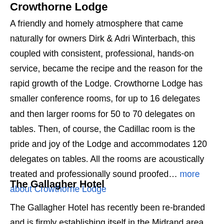Crowthorne Lodge
A friendly and homely atmosphere that came naturally for owners Dirk & Adri Winterbach, this coupled with consistent, professional, hands-on service, became the recipe and the reason for the rapid growth of the Lodge. Crowthorne Lodge has smaller conference rooms, for up to 16 delegates and then larger rooms for 50 to 70 delegates on tables. Then, of course, the Cadillac room is the pride and joy of the Lodge and accommodates 120 delegates on tables. All the rooms are acoustically treated and professionally sound proofed… more about Crowthorne Lodge
The Gallagher Hotel
The Gallagher Hotel has recently been re-branded and is firmly establishing itself in the Midrand area with many a